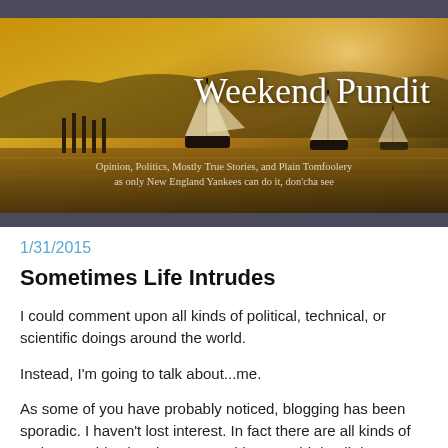[Figure (photo): Blog banner header showing sailboats on a misty golden harbor at sunrise/sunset with the blog title 'Weekend Pundit' and subtitle 'Opinion, Politics, Mostly True Stories, and Plain Tomfoolery as only New England Yankees can do it, don'cha see']
1/31/2015
Sometimes Life Intrudes
I could comment upon all kinds of political, technical, or scientific doings around the world.
Instead, I'm going to talk about...me.
As some of you have probably noticed, blogging has been sporadic. I haven't lost interest. In fact there are all kinds of topics I could write about, something I could do all day. But as everyone who blogs knows, sometimes real life intrudes and something must give.